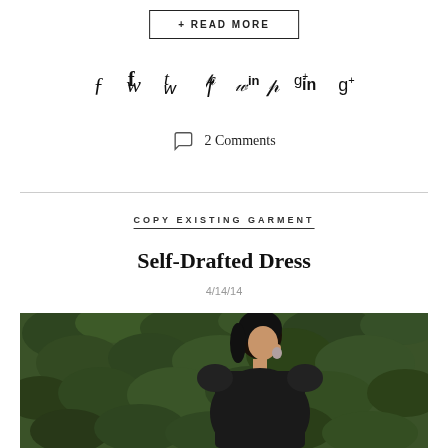+ READ MORE
f  t  p  in  g+
2 Comments
COPY EXISTING GARMENT
Self-Drafted Dress
4/14/14
[Figure (photo): Woman with dark hair standing outdoors in front of a green leafy hedge, looking to her right, wearing dark clothing with hoop earrings.]